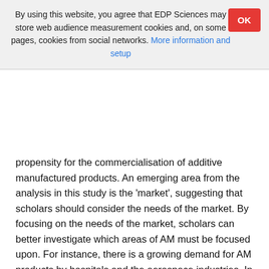By using this website, you agree that EDP Sciences may store web audience measurement cookies and, on some pages, cookies from social networks. More information and setup
propensity for the commercialisation of additive manufactured products. An emerging area from the analysis in this study is the 'market', suggesting that scholars should consider the needs of the market. By focusing on the needs of the market, scholars can better investigate which areas of AM must be focused upon. For instance, there is a growing demand for AM products by hospitals and the aerospace industries. In this case, hospitals and the aviation industry may be considered as the market for AM products.
It also came to light that, researchers need to devote more time and effort to the consumer side of the commercialization of AM products, as this is the future research topic in CAMP research, according to the findings. Since the studies from Africa, Asia and Australia are scant, there should be more